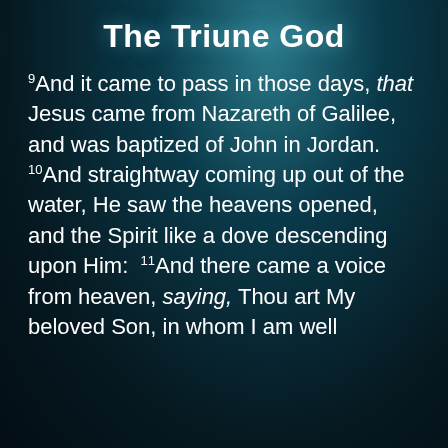The Triune God
9And it came to pass in those days, that Jesus came from Nazareth of Galilee, and was baptized of John in Jordan. 10And straightway coming up out of the water, He saw the heavens opened, and the Spirit like a dove descending upon Him: 11And there came a voice from heaven, saying, Thou art My beloved Son, in whom I am well pleased.